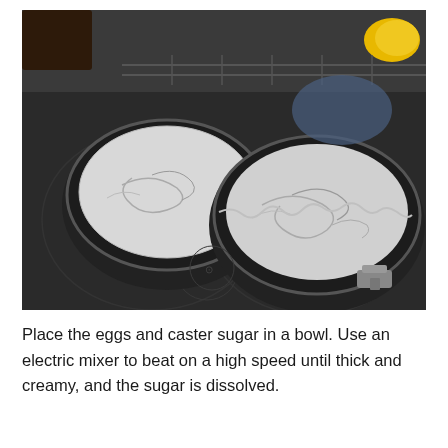[Figure (photo): Two round black springform cake tins filled with white batter or meringue mixture, sitting on a black glass ceramic stovetop. A yellow object is partially visible in the top right corner.]
Place the eggs and caster sugar in a bowl. Use an electric mixer to beat on a high speed until thick and creamy, and the sugar is dissolved.